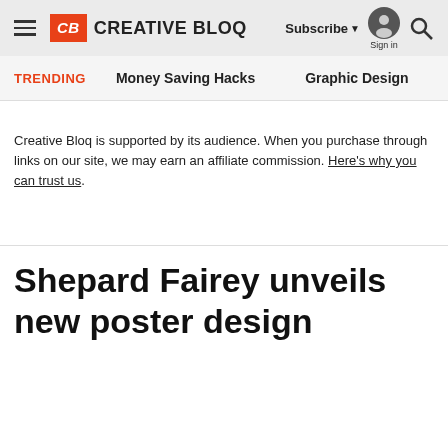CB CREATIVE BLOQ | Subscribe | Sign in
TRENDING | Money Saving Hacks | Graphic Design
Creative Bloq is supported by its audience. When you purchase through links on our site, we may earn an affiliate commission. Here's why you can trust us.
Shepard Fairey unveils new poster design